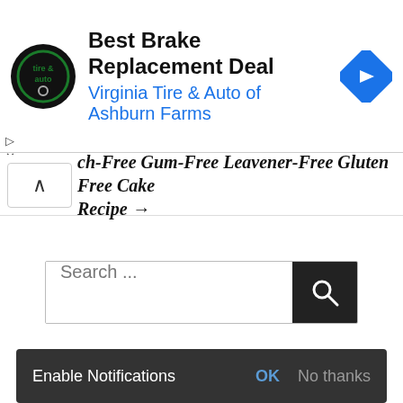[Figure (other): Advertisement banner for Virginia Tire & Auto of Ashburn Farms with logo, title 'Best Brake Replacement Deal', and navigation arrow icon]
ch-Free Gum-Free Leavener-Free Gluten Free Cake Recipe →
[Figure (other): Search bar with 'Search ...' placeholder and dark search button with magnifying glass icon]
CARLA SPACHER, FOUNDER AND CEO
[Figure (photo): Photo of Carla Spacher, founder and CEO, a woman with dark hair smiling, wearing a green top]
Enable Notifications   OK   No thanks